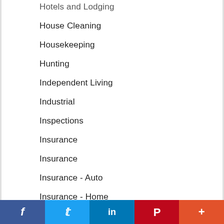Hotels and Lodging
House Cleaning
Housekeeping
Hunting
Independent Living
Industrial
Inspections
Insurance
Insurance
Insurance - Auto
Insurance - Home
Interior
Interior Designers
Internet Businesses
f  t  in  P  +